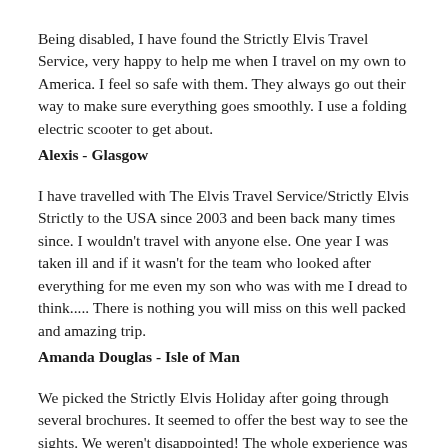Being disabled, I have found the Strictly Elvis Travel Service, very happy to help me when I travel on my own to America. I feel so safe with them. They always go out their way to make sure everything goes smoothly. I use a folding electric scooter to get about.
Alexis - Glasgow
I have travelled with The Elvis Travel Service/Strictly Elvis Strictly to the USA since 2003 and been back many times since. I wouldn't travel with anyone else. One year I was taken ill and if it wasn't for the team who looked after everything for me even my son who was with me I dread to think..... There is nothing you will miss on this well packed and amazing trip.
Amanda Douglas - Isle of Man
We picked the Strictly Elvis Holiday after going through several brochures. It seemed to offer the best way to see the sights. We weren't disappointed! The whole experience was geared for our needs We never expected such friendly, professional and knowledgeable staff to greet us. Everything